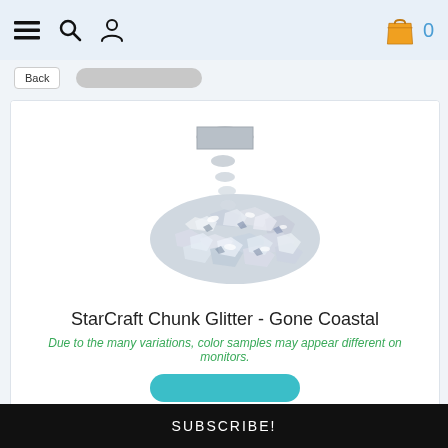Navigation header with hamburger menu, search, user icon, shopping bag and cart count 0
[Figure (photo): A pile of silver chunky glitter spilling from a container onto a white background]
StarCraft Chunk Glitter - Gone Coastal
Due to the many variations, color samples may appear different on monitors.
SUBSCRIBE!